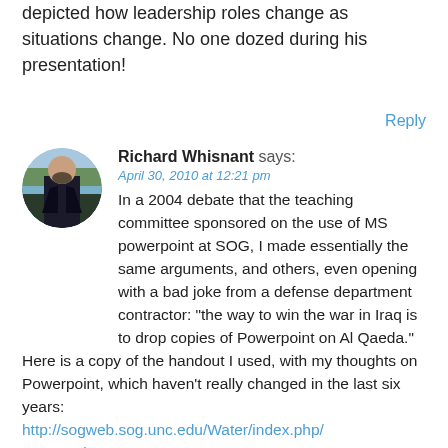depicted how leadership roles change as situations change. No one dozed during his presentation!
Reply
[Figure (photo): Circular avatar photo of Richard Whisnant, a man with a beard wearing a dark jacket, outdoors with trees and water in background]
Richard Whisnant says:
April 30, 2010 at 12:21 pm
In a 2004 debate that the teaching committee sponsored on the use of MS powerpoint at SOG, I made essentially the same arguments, and others, even opening with a bad joke from a defense department contractor: "the way to win the war in Iraq is to drop copies of Powerpoint on Al Qaeda."
Here is a copy of the handout I used, with my thoughts on Powerpoint, which haven't really changed in the last six years: http://sogweb.sog.unc.edu/Water/index.php/Powerpoint